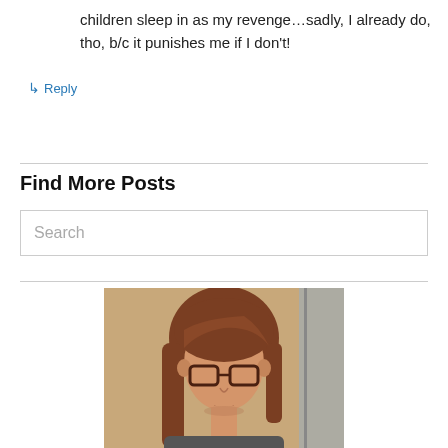children sleep in as my revenge…sadly, I already do, tho, b/c it punishes me if I don't!
↳ Reply
Find More Posts
Search
[Figure (photo): Portrait photo of a young woman with long reddish-brown hair and dark-framed glasses, wearing a dark top, with a light-colored wall and window visible in background.]